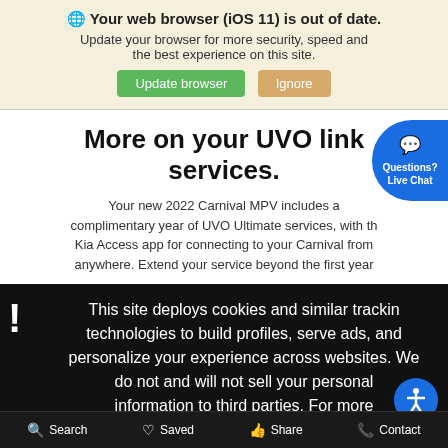🌐 Your web browser (iOS 11) is out of date. Update your browser for more security, speed and the best experience on this site.
Update browser | Ignore
More on your UVO link services.
Your new 2022 Carnival MPV includes a complimentary year of UVO Ultimate services, with the Kia Access app for connecting to your Carnival from anywhere. Extend your service beyond the first year
This site deploys cookies and similar tracking technologies to build profiles, serve ads, and personalize your experience across websites. We do not and will not sell your personal information to third parties. For more information, check out our Privacy Policy HERE.
Search   Saved   Share   Contact